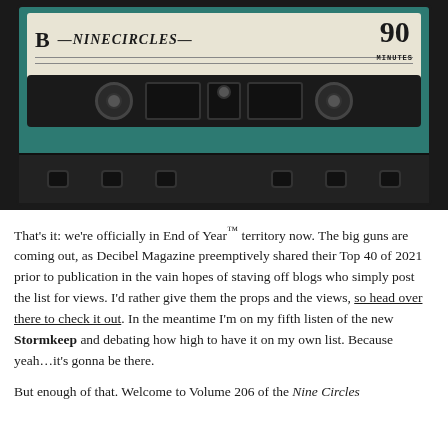[Figure (illustration): Vintage cassette tape labeled 'B —NINECIRCLES—' on side B, teal/green color, with 'HIGH FIDELITY' text on label, 90 MINUTES badge, black cassette mechanism with spools and tape window visible.]
That's it: we're officially in End of Year™ territory now. The big guns are coming out, as Decibel Magazine preemptively shared their Top 40 of 2021 prior to publication in the vain hopes of staving off blogs who simply post the list for views. I'd rather give them the props and the views, so head over there to check it out. In the meantime I'm on my fifth listen of the new Stormkeep and debating how high to have it on my own list. Because yeah…it's gonna be there.
But enough of that. Welcome to Volume 206 of the Nine Circles